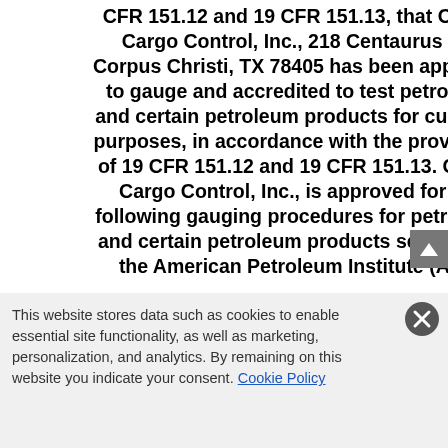CFR 151.12 and 19 CFR 151.13, that Camin Cargo Control, Inc., 218 Centaurus St., Corpus Christi, TX 78405 has been approved to gauge and accredited to test petroleum and certain petroleum products for customs purposes, in accordance with the provisions of 19 CFR 151.12 and 19 CFR 151.13. Camin Cargo Control, Inc., is approved for the following gauging procedures for petroleum and certain petroleum products set forth by the American Petroleum Institute (API):
This website stores data such as cookies to enable essential site functionality, as well as marketing, personalization, and analytics. By remaining on this website you indicate your consent. Cookie Policy